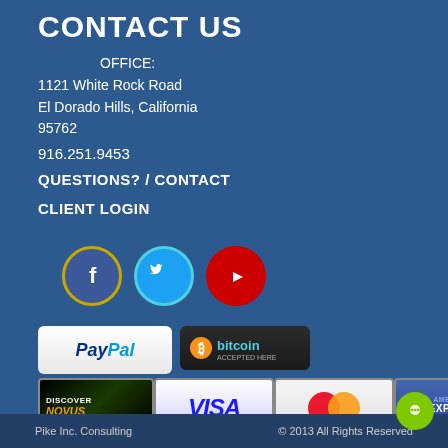CONTACT US
OFFICE:
1121 White Rock Road
El Dorado Hills, California
95762
916.251.9453
QUESTIONS? / CONTACT
CLIENT LOGIN
[Figure (illustration): Three social media icons: Facebook (blue circle with gold border), Twitter (light blue circle with teal border), YouTube (red circle with red border)]
[Figure (illustration): Payment method logos: PayPal, Bitcoin Accepted Here, Discover/Novus, Visa, MasterCard, American Express]
Pike Inc. Consulting    © 2013 All Rights Reserved